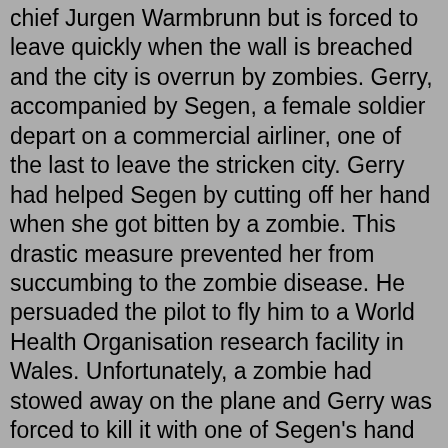chief Jurgen Warmbrunn but is forced to leave quickly when the wall is breached and the city is overrun by zombies. Gerry, accompanied by Segen, a female soldier depart on a commercial airliner, one of the last to leave the stricken city. Gerry had helped Segen by cutting off her hand when she got bitten by a zombie. This drastic measure prevented her from succumbing to the zombie disease. He persuaded the pilot to fly him to a World Health Organisation research facility in Wales. Unfortunately, a zombie had stowed away on the plane and Gerry was forced to kill it with one of Segen's hand grenades. Naturally, this caused the plane to crash but luckily, Gerry and Segen were the only survivors and even more luckily, they were close to the WHO facility. Whilst in Jerusalem, Gerry noticed that the zombies ignored a sick old man and an emaciated boy. He surmised that anyone with a terminal disease was immune to the zombies so to test his theory he injected himself with a lethal but treatable disease. It worked and the scientists were able to produce a vaccine to render humanity immune to the zombie virus. THE VERDICT. Oh dear! Where do I begin? This has to be one of the worst zombie films I have ever seen and believe